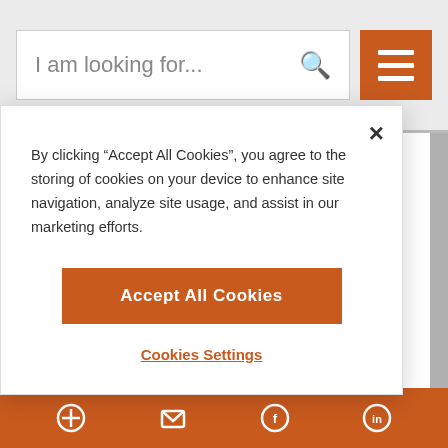I am looking for...
REVIEWING SUGAR RESEARCH: ADVANTAGES AND LIMITATIONS
By clicking “Accept All Cookies”, you agree to the storing of cookies on your device to enhance site navigation, analyze site usage, and assist in our marketing efforts.
Accept All Cookies
Cookies Settings